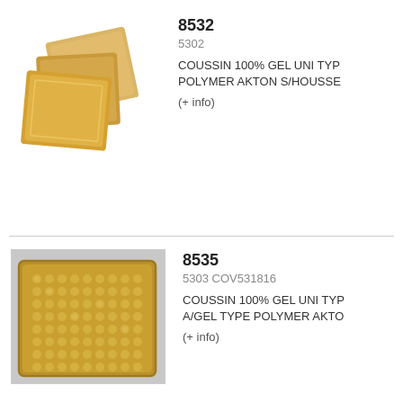[Figure (photo): Three overlapping amber/golden gel cushion pads stacked at angles]
8532
5302
COUSSIN 100% GEL UNI TYPE POLYMER AKTON S/HOUSSE
(+ info)
[Figure (photo): Golden/amber gel cushion mat with bubble/dot texture pattern, rectangular shape with rounded corners]
8535
5303 COV531816
COUSSIN 100% GEL UNI TYPE A/GEL TYPE POLYMER AKTO
(+ info)